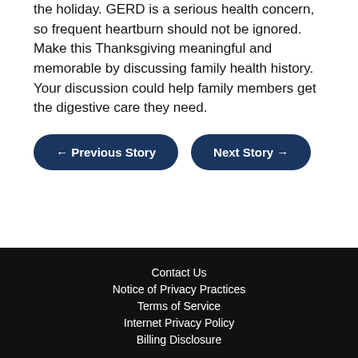the holiday. GERD is a serious health concern, so frequent heartburn should not be ignored. Make this Thanksgiving meaningful and memorable by discussing family health history. Your discussion could help family members get the digestive care they need.
← Previous Story
Next Story →
Contact Us
Notice of Privacy Practices
Terms of Service
Internet Privacy Policy
Billing Disclosure